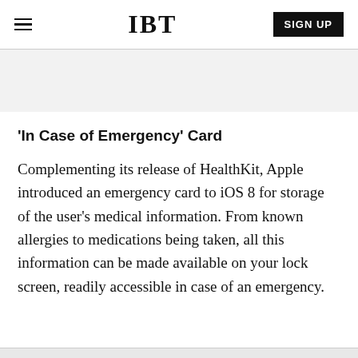IBT | SIGN UP
'In Case of Emergency' Card
Complementing its release of HealthKit, Apple introduced an emergency card to iOS 8 for storage of the user's medical information. From known allergies to medications being taken, all this information can be made available on your lock screen, readily accessible in case of an emergency.